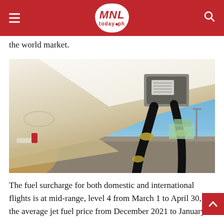MNL today.ph
the world market.
[Figure (photo): Close-up photo of an aircraft wing being refueled on the tarmac. Fuel hoses are connected to the underside of the wing. A clear blue sky is visible in the background along with airport buildings and a parked aircraft with a red tail.]
The fuel surcharge for both domestic and international flights is at mid-range, level 4 from March 1 to April 30, as the average jet fuel price from December 2021 to January